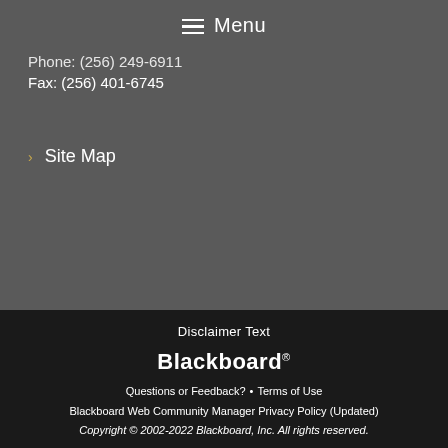Menu
Phone: (256) 249-6911
Fax: (256) 401-6745
Site Map
Disclaimer Text
[Figure (logo): Blackboard logo wordmark in white]
Questions or Feedback? • Terms of Use
Blackboard Web Community Manager Privacy Policy (Updated)
Copyright © 2002-2022 Blackboard, Inc. All rights reserved.